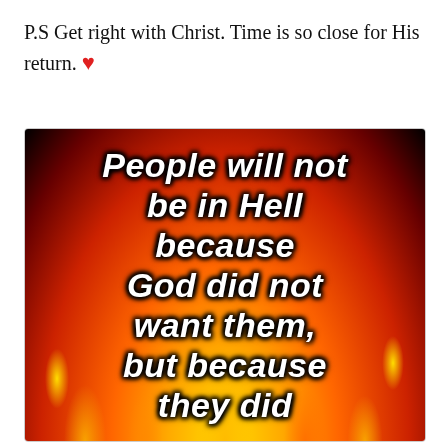P.S Get right with Christ. Time is so close for His return. ❤
[Figure (illustration): Fire background image with bold italic white text on black/flame background reading: 'People will not be in Hell because God did not want them, but because they did']